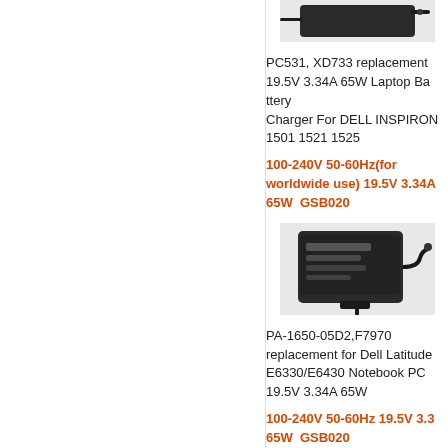[Figure (photo): Laptop charger/adapter product photo showing a black AC power adapter with cable]
PC531, XD733 replacement 19.5V 3.34A 65W Laptop Battery Charger For DELL INSPIRON 1501 1521 1525
100-240V 50-60Hz(for worldwide use) 19.5V 3.34A 65W  GSB020
[Figure (photo): Dell laptop AC adapter/charger product photo showing a rectangular black adapter with cable and connector]
PA-1650-05D2,F7970 replacement for Dell Latitude E6330/E6430 Notebook PC 19.5V 3.34A 65W
100-240V 50-60Hz 19.5V 3.34A 65W  GSB020